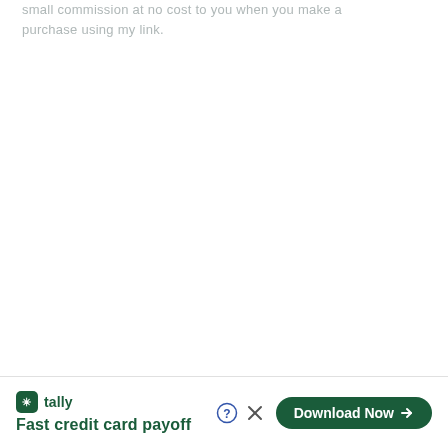small commission at no cost to you when you make a purchase using my link.
[Figure (other): Tally app advertisement banner at the bottom of the page. Shows the Tally logo (green square icon with asterisk/star), the text 'tally', tagline 'Fast credit card payoff', a help button (circle with question mark), a close button (X), and a green pill-shaped 'Download Now →' button.]